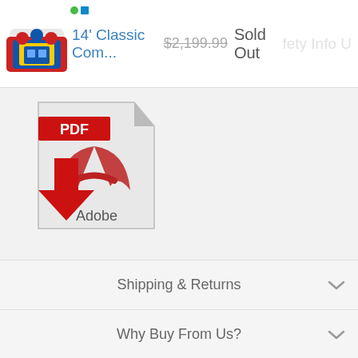14' Classic Com...  $2,199.99  Sold Out
[Figure (screenshot): Adobe PDF icon with red download arrow]
Shipping & Returns
Why Buy From Us?
Price Match Guarantee
Our Promise
Reviews